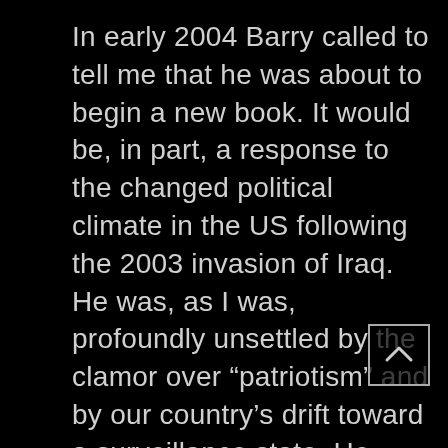In early 2004 Barry called to tell me that he was about to begin a new book. It would be, in part, a response to the changed political climate in the US following the 2003 invasion of Iraq. He was, as I was, profoundly unsettled by the clamor over “patriotism” and by our country’s drift toward a surveillance state. He asked me to send him prints of nine of my black and white monotypes of faces, a group